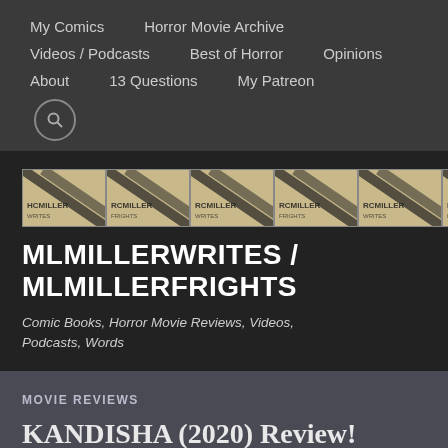My Comics   Horror Movie Archive   Videos / Podcasts   Best of Horror   Opinions   About   13 Questions   My Patreon
[Figure (logo): MLMillerWrites / MLMillerFrights banner strip with repeating diagonal pencil tile motif and red M logo on black background]
MLMILLERWRITES / MLMILLERFRIGHTS
Comic Books, Horror Movie Reviews, Videos, Podcasts, Words
MOVIE REVIEWS
KANDISHA (2020) Review!